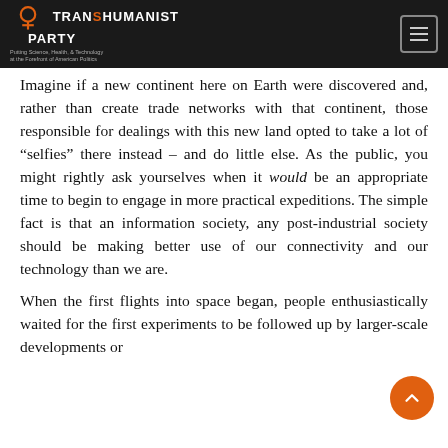TRANSHUMANIST PARTY — Putting Science, Health, & Technology at the Forefront of American Politics
Imagine if a new continent here on Earth were discovered and, rather than create trade networks with that continent, those responsible for dealings with this new land opted to take a lot of “selfies” there instead – and do little else. As the public, you might rightly ask yourselves when it would be an appropriate time to begin to engage in more practical expeditions. The simple fact is that an information society, any post-industrial society should be making better use of our connectivity and our technology than we are.
When the first flights into space began, people enthusiastically waited for the first experiments to be followed up by larger-scale developments or